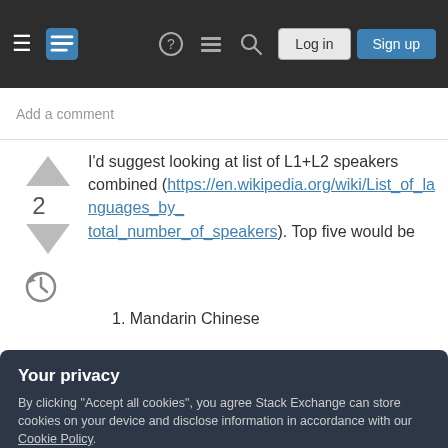Stack Exchange navigation header with Log in and Sign up buttons
Add a comment
I'd suggest looking at list of L1+L2 speakers combined (https://en.wikipedia.org/wiki/List_of_languages_by_total_number_of_speakers). Top five would be
1. Mandarin Chinese
2. English
3. Hindustani
Your privacy
By clicking "Accept all cookies", you agree Stack Exchange can store cookies on your device and disclose information in accordance with our Cookie Policy.
Accept all cookies
Customize settings
one or other would be a pretty simple first step.